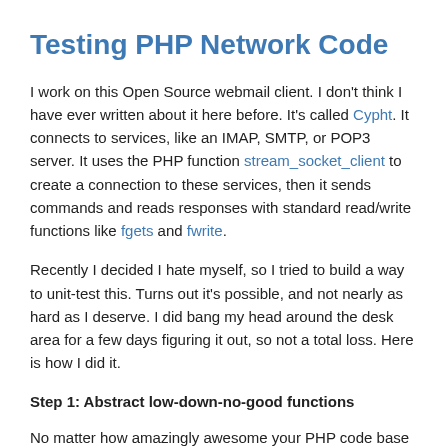Testing PHP Network Code
I work on this Open Source webmail client. I don't think I have ever written about it here before. It's called Cypht. It connects to services, like an IMAP, SMTP, or POP3 server. It uses the PHP function stream_socket_client to create a connection to these services, then it sends commands and reads responses with standard read/write functions like fgets and fwrite.
Recently I decided I hate myself, so I tried to build a way to unit-test this. Turns out it's possible, and not nearly as hard as I deserve. I did bang my head around the desk area for a few days figuring it out, so not a total loss. Here is how I did it.
Step 1: Abstract low-down-no-good functions
No matter how amazingly awesome your PHP code base is, if your code actually does anything and you want comprehensive unit test coverage, you have no choice but to abstract a few